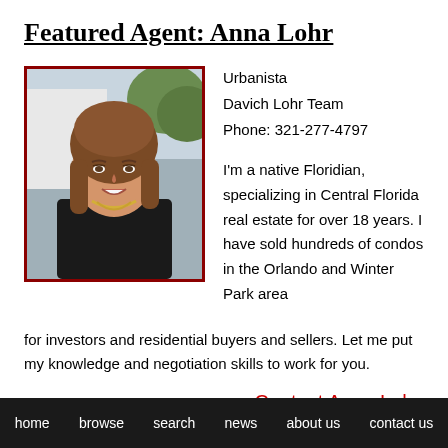Featured Agent: Anna Lohr
[Figure (photo): Headshot photo of Anna Lohr, a woman with shoulder-length brown hair, wearing a dark top and gold necklace, smiling, against an outdoor background.]
Urbanista
Davich Lohr Team
Phone: 321-277-4797

I'm a native Floridian, specializing in Central Florida real estate for over 18 years. I have sold hundreds of condos in the Orlando and Winter Park area for investors and residential buyers and sellers. Let me put my knowledge and negotiation skills to work for you.
Contact Anna Lohr
Browse Options
home   browse   search   news   about us   contact us